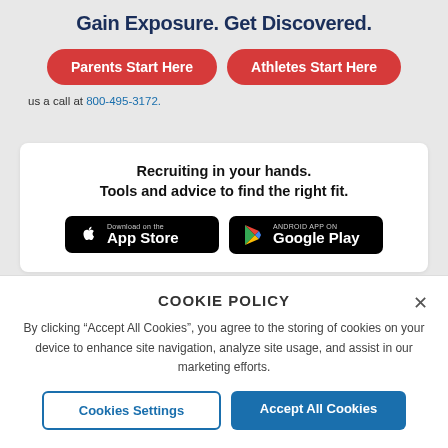Gain Exposure. Get Discovered.
Parents Start Here
Athletes Start Here
us a call at 800-495-3172.
Recruiting in your hands.
Tools and advice to find the right fit.
[Figure (screenshot): Download on the App Store button (black rounded rectangle with Apple logo)]
[Figure (screenshot): Android App on Google Play button (black rounded rectangle with Google Play logo)]
COOKIE POLICY
By clicking “Accept All Cookies”, you agree to the storing of cookies on your device to enhance site navigation, analyze site usage, and assist in our marketing efforts.
Cookies Settings
Accept All Cookies